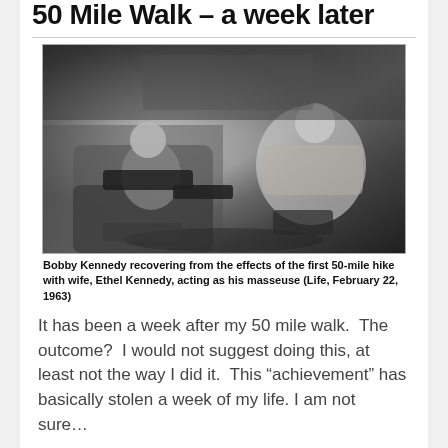50 Mile Walk – a week later
[Figure (photo): Black and white photo of Bobby Kennedy reclining in a chair with his foot being massaged by his wife Ethel Kennedy, who is seated across from him in a patterned jacket.]
Bobby Kennedy recovering from the effects of the first 50-mile hike with wife, Ethel Kennedy, acting as his masseuse (Life, February 22, 1963)
It has been a week after my 50 mile walk.  The outcome?  I would not suggest doing this, at least not the way I did it.  This “achievement” has basically stolen a week of my life. I am not sure…
Continue Reading →